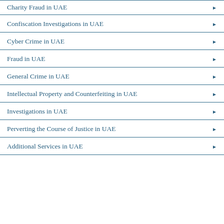Charity Fraud in UAE
Confiscation Investigations in UAE
Cyber Crime in UAE
Fraud in UAE
General Crime in UAE
Intellectual Property and Counterfeiting in UAE
Investigations in UAE
Perverting the Course of Justice in UAE
Additional Services in UAE